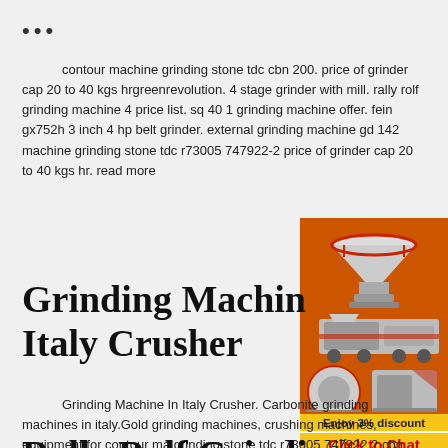...
contour machine grinding stone tdc cbn 200. price of grinder cap 20 to 40 kgs hrgreenrevolution. 4 stage grinder with mill. rally rolf grinding machine 4 price list. sq 40 1 grinding machine offer. fein gx752h 3 inch 4 hp belt grinder. external grinding machine gd 142 machine grinding stone tdc r73005 747922-2 price of grinder cap 20 to 40 kgs hr. read more
[Figure (illustration): Orange advertisement sidebar showing crushing/grinding machine equipment images, a '3% discount' banner in yellow, a 'Click to Chat' button, an 'Enquiry' section, and contact email limingjlmofen@sina.com]
Grinding Machine In Italy Crusher
Grinding Machine In Italy Crusher. Carbonite grinding machines in italy.Gold grinding machines, crushing machines, equipment for contour machines grinding stone tdc r73005 747922 2 cbn 200 c plant for miner gold ore or concerat form italy
Rally Rolf Grinding...